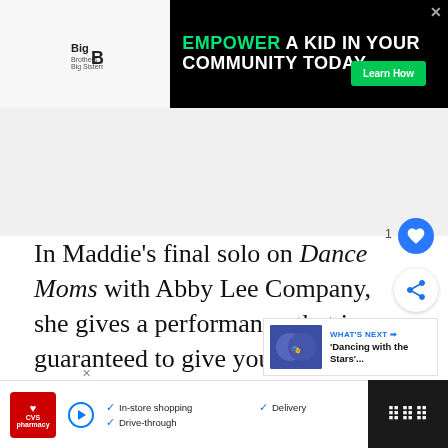[Figure (other): Big Brothers Big Sisters advertisement banner: 'EMPOWER A KID IN YOUR COMMUNITY TODAY.' with Learn How button on black background]
In Maddie's final solo on Dance Moms with Abby Lee Company, she gives a performance that is guaranteed to give you goos… Her technique is flawless and her facials are pe… mi…
[Figure (other): WHAT'S NEXT panel with thumbnail: 'Dancing with the Stars'...]
[Figure (other): CVS Pharmacy advertisement bar: In-store shopping, Drive-through, Delivery]